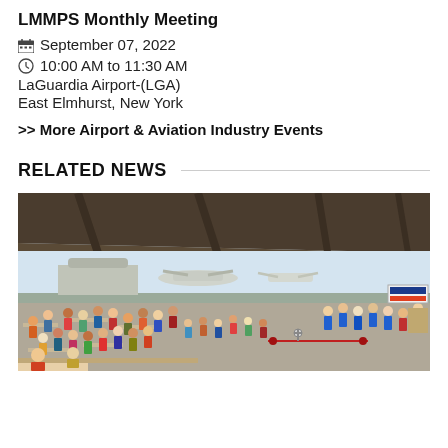LMMPS Monthly Meeting
September 07, 2022
10:00 AM to 11:30 AM
LaGuardia Airport-(LGA)
East Elmhurst, New York
>> More Airport & Aviation Industry Events
RELATED NEWS
[Figure (photo): Large crowd gathered inside an airport hangar with aircraft visible on the tarmac outside. People seated at tables and in chairs, with staff in blue shirts on the right side. A banner is visible on the right wall. Natural daylight comes through the open hangar doors.]